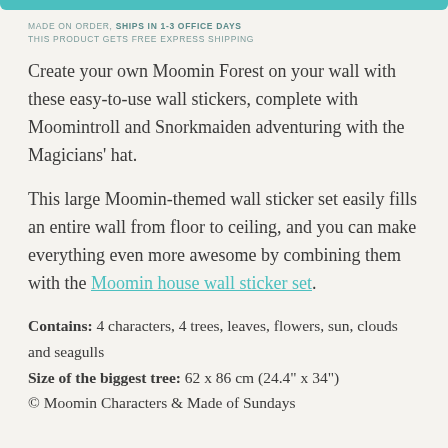MADE ON ORDER, SHIPS IN 1-3 OFFICE DAYS
THIS PRODUCT GETS FREE EXPRESS SHIPPING
Create your own Moomin Forest on your wall with these easy-to-use wall stickers, complete with Moomintroll and Snorkmaiden adventuring with the Magicians' hat.
This large Moomin-themed wall sticker set easily fills an entire wall from floor to ceiling, and you can make everything even more awesome by combining them with the Moomin house wall sticker set.
Contains: 4 characters, 4 trees, leaves, flowers, sun, clouds and seagulls
Size of the biggest tree: 62 x 86 cm (24.4" x 34")
© Moomin Characters & Made of Sundays